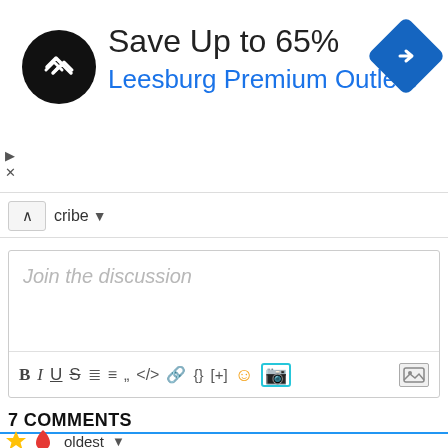[Figure (screenshot): Advertisement banner: black circular logo with double arrow, 'Save Up to 65%' text, 'Leesburg Premium Outlets' in blue, blue diamond navigation icon on right, play and X controls on left]
cribe ▼
[Figure (screenshot): Comment editor box with placeholder text 'Join the discussion' and formatting toolbar with Bold, Italic, Underline, Strikethrough, ordered list, unordered list, quote, code, link, braces, spoiler, emoji, GIF buttons, and image button on far right]
7 COMMENTS
[Figure (screenshot): Comment sorting bar with lightning bolt icon (gold), flame icon (orange-red), 'oldest' dropdown selector, blue horizontal rule below]
[Figure (screenshot): Comment thread: number 7 badge, teal circular avatar with chat bubble icon, John Clark username in blue, clock icon, '4 years ago', share icon]
John Clark
4 years ago